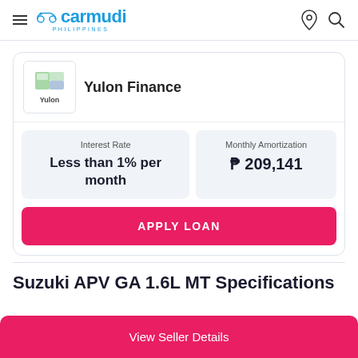carmudi PHILIPPINES
[Figure (logo): Yulon Finance logo box with car icon and text 'Yulon']
Yulon Finance
Interest Rate
Less than 1% per month
Monthly Amortization
₱ 209,141
APPLY LOAN
Suzuki APV GA 1.6L MT Specifications
View Seller Details